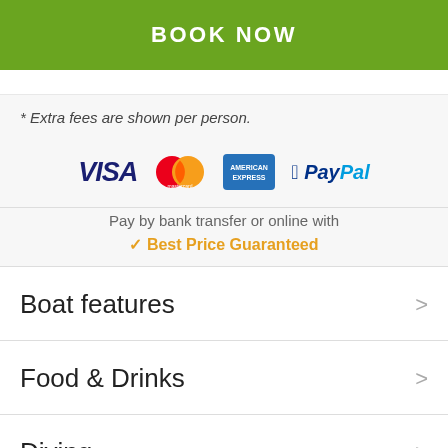BOOK NOW
* Extra fees are shown per person.
[Figure (logo): Payment method logos: VISA, Mastercard, American Express, PayPal]
Pay by bank transfer or online with
✔ Best Price Guaranteed
Boat features
Food & Drinks
Diving